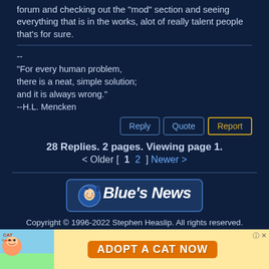forum and checking out the "mod" section and seeing everything that is in the works, alot of really talent people that's for sure.
--
"For every human problem,
there is a neat, simple solution;
and it is always wrong."
--H.L. Mencken
28 Replies. 2 pages. Viewing page 1.
< Older [  1  2  ] Newer >
[Figure (logo): Blue's News logo with cartoon face character]
Copyright © 1996-2022 Stephen Heaslip. All rights reserved.
All trademarks are properties of their respective owners.
[Figure (photo): Advertisement banner: Cat Game - Adopt a Cat Now]